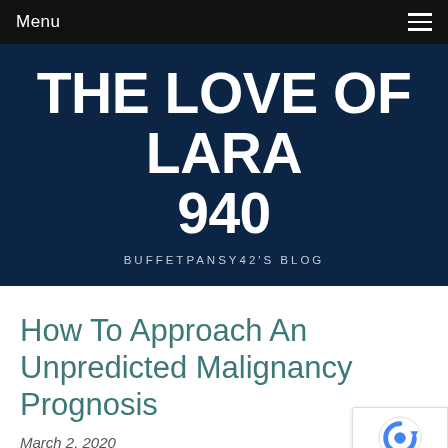Menu
THE LOVE OF LARA 940
BUFFETPANSY42'S BLOG
How To Approach An Unpredicted Malignancy Prognosis
March 2, 2020